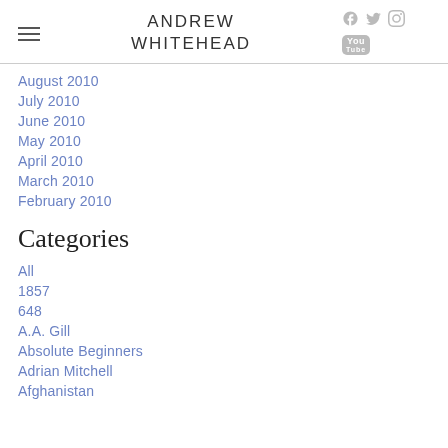ANDREW WHITEHEAD
August 2010
July 2010
June 2010
May 2010
April 2010
March 2010
February 2010
Categories
All
1857
648
A.A. Gill
Absolute Beginners
Adrian Mitchell
Afghanistan